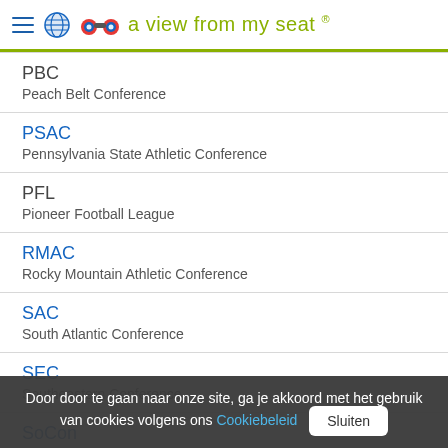a view from my seat ®
PBC
Peach Belt Conference
PSAC
Pennsylvania State Athletic Conference
PFL
Pioneer Football League
RMAC
Rocky Mountain Athletic Conference
SAC
South Atlantic Conference
SEC
Southeastern Conference
SoCon
Southern Conference
SIAC
Southern Intercollegiate Athletic Conference
Door door te gaan naar onze site, ga je akkoord met het gebruik van cookies volgens ons Cookiebeleid  Sluiten